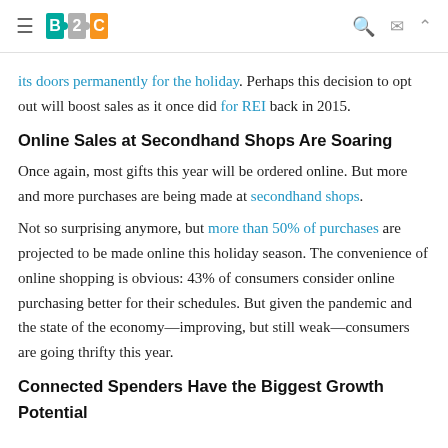B2C logo with navigation icons
its doors permanently for the holiday. Perhaps this decision to opt out will boost sales as it once did for REI back in 2015.
Online Sales at Secondhand Shops Are Soaring
Once again, most gifts this year will be ordered online. But more and more purchases are being made at secondhand shops.
Not so surprising anymore, but more than 50% of purchases are projected to be made online this holiday season. The convenience of online shopping is obvious: 43% of consumers consider online purchasing better for their schedules. But given the pandemic and the state of the economy—improving, but still weak—consumers are going thrifty this year.
Connected Spenders Have the Biggest Growth Potential